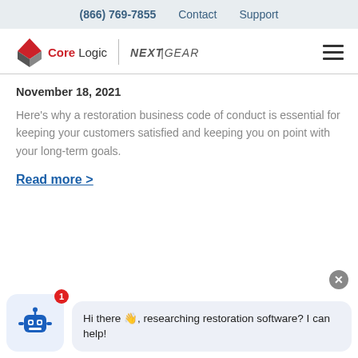(866) 769-7855   Contact   Support
[Figure (logo): CoreLogic and NextGear logos with hamburger menu icon]
November 18, 2021
Here's why a restoration business code of conduct is essential for keeping your customers satisfied and keeping you on point with your long-term goals.
Read more >
Hi there 👋, researching restoration software? I can help!